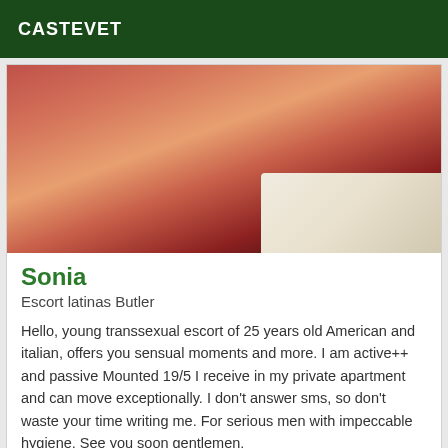CASTEVET
[Figure (photo): Close-up photo of skin tones with warm reddish and orange hues, partial view of fabric in bottom right corner]
Sonia
Escort latinas Butler
Hello, young transsexual escort of 25 years old American and italian, offers you sensual moments and more. I am active++ and passive Mounted 19/5 I receive in my private apartment and can move exceptionally. I don't answer sms, so don't waste your time writing me. For serious men with impeccable hygiene. See you soon gentlemen.